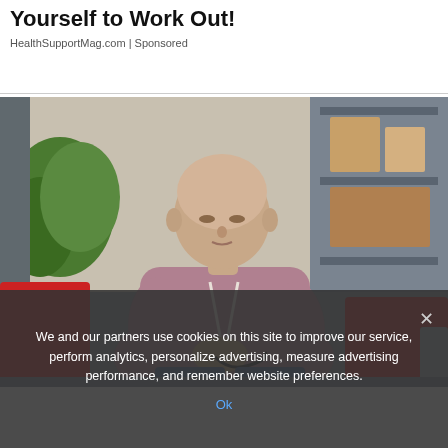Yourself to Work Out!
HealthSupportMag.com | Sponsored
[Figure (photo): A middle-aged bald man in a pink/mauve hoodie sitting on a grey couch with red pillows, looking down at something in his hands (a cable or device). Background shows a grey shelving unit and green plant.]
We and our partners use cookies on this site to improve our service, perform analytics, personalize advertising, measure advertising performance, and remember website preferences.
Ok